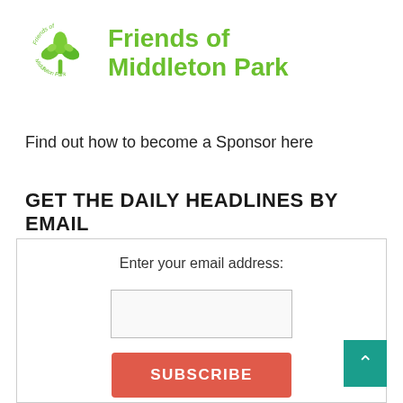[Figure (logo): Friends of Middleton Park logo with green leaves and tree illustration, circular text reading 'Friends of Middleton Park']
Friends of Middleton Park
Find out how to become a Sponsor here
GET THE DAILY HEADLINES BY EMAIL
Enter your email address:
SUBSCRIBE